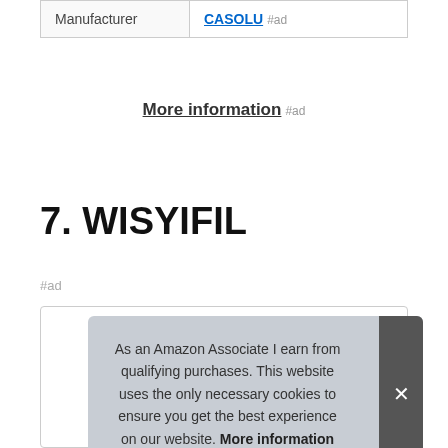| Manufacturer | CASOLU #ad |
More information #ad
7. WISYIFIL
#ad
As an Amazon Associate I earn from qualifying purchases. This website uses the only necessary cookies to ensure you get the best experience on our website. More information